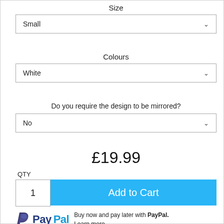Size
Small
Colours
White
Do you require the design to be mirrored?
No
£19.99
QTY
1
Add to Cart
Buy now and pay later with PayPal. Learn more